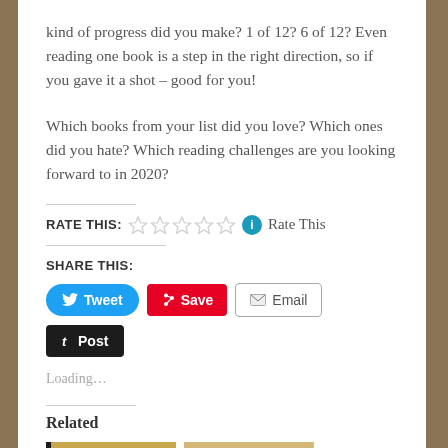kind of progress did you make? 1 of 12? 6 of 12? Even reading one book is a step in the right direction, so if you gave it a shot – good for you!
Which books from your list did you love? Which ones did you hate? Which reading challenges are you looking forward to in 2020?
Rate This
Share This:
Loading...
Related